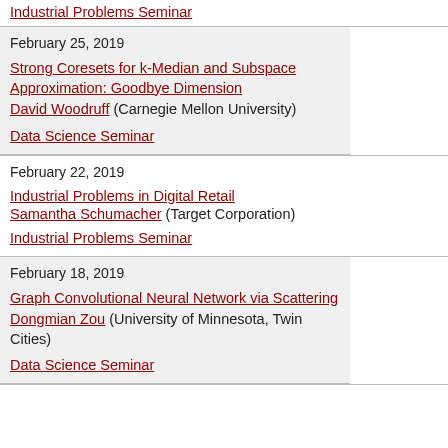Industrial Problems Seminar
February 25, 2019
Strong Coresets for k-Median and Subspace Approximation: Goodbye Dimension
David Woodruff (Carnegie Mellon University)
Data Science Seminar
February 22, 2019
Industrial Problems in Digital Retail
Samantha Schumacher (Target Corporation)
Industrial Problems Seminar
February 18, 2019
Graph Convolutional Neural Network via Scattering
Dongmian Zou (University of Minnesota, Twin Cities)
Data Science Seminar